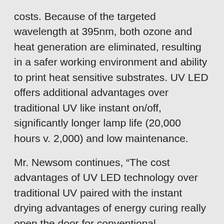costs. Because of the targeted wavelength at 395nm, both ozone and heat generation are eliminated, resulting in a safer working environment and ability to print heat sensitive substrates. UV LED offers additional advantages over traditional UV like instant on/off, significantly longer lamp life (20,000 hours v. 2,000) and low maintenance.
Mr. Newsom continues, “The cost advantages of UV LED technology over traditional UV paired with the instant drying advantages of energy curing really open the door for conventional commercial printers to adopt this technology. Ultraking® XCURA LED provides the ink solution for the perfect balance of press stability and cure speed.”